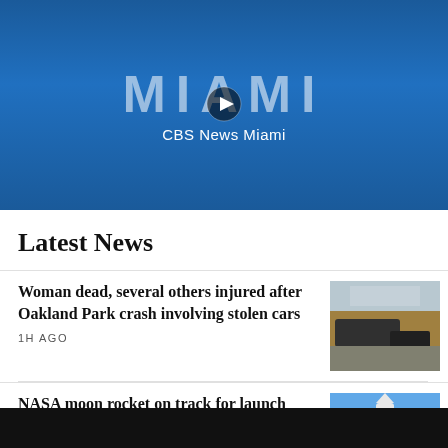[Figure (screenshot): CBS News Miami video banner with blue gradient background, MIAMI text watermark, play button icon, and 'CBS News Miami' label]
Latest News
Woman dead, several others injured after Oakland Park crash involving stolen cars
1H AGO
[Figure (photo): Crash scene photo with yellow police tape and damaged vehicle]
NASA moon rocket on track for launch despite lightning hits
2H AGO
[Figure (photo): NASA rocket on launch pad against blue sky]